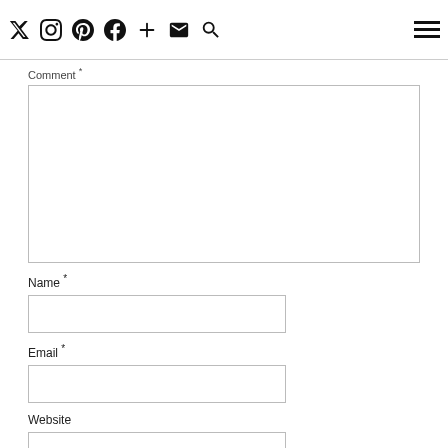Social nav icons and hamburger menu
Your email address will not be published. Required fields are marked *
Comment *
Name *
Email *
Website